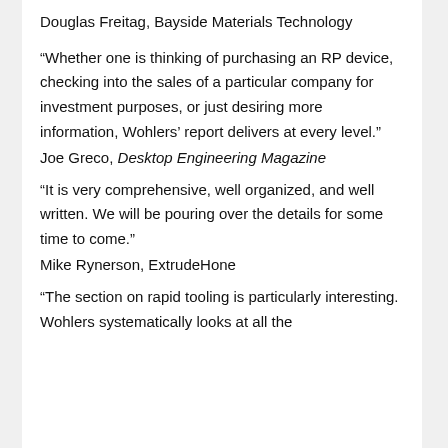Douglas Freitag, Bayside Materials Technology
“Whether one is thinking of purchasing an RP device, checking into the sales of a particular company for investment purposes, or just desiring more information, Wohlers’ report delivers at every level.”
Joe Greco, Desktop Engineering Magazine
“It is very comprehensive, well organized, and well written. We will be pouring over the details for some time to come.”
Mike Rynerson, ExtrudeHone
“The section on rapid tooling is particularly interesting. Wohlers systematically looks at all the